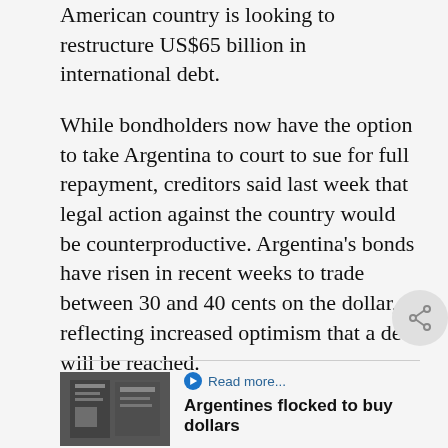American country is looking to restructure US$65 billion in international debt.
While bondholders now have the option to take Argentina to court to sue for full repayment, creditors said last week that legal action against the country would be counterproductive. Argentina's bonds have risen in recent weeks to trade between 30 and 40 cents on the dollar, reflecting increased optimism that a deal will be reached.
Read more...
Argentines flocked to buy dollars